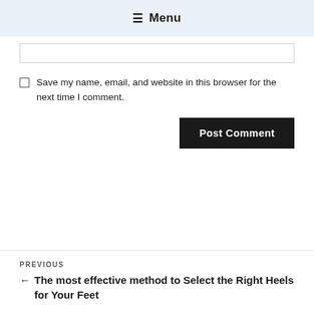≡ Menu
[Figure (other): Text input field (partially visible)]
Save my name, email, and website in this browser for the next time I comment.
Post Comment
PREVIOUS
← The most effective method to Select the Right Heels for Your Feet